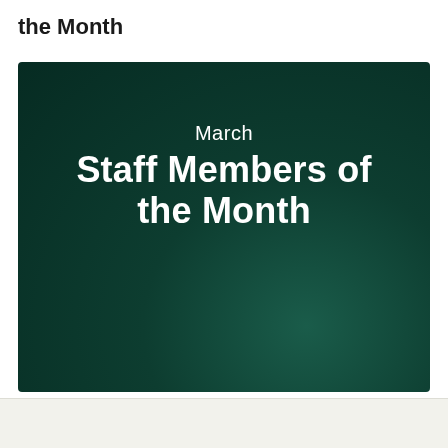the Month
[Figure (illustration): Dark green gradient background with centered text reading 'March' in regular weight and 'Staff Members of the Month' in bold white text below it.]